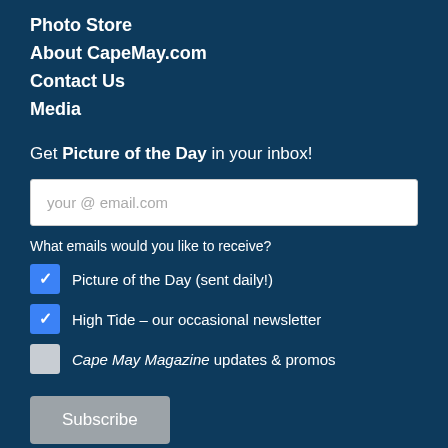Photo Store
About CapeMay.com
Contact Us
Media
Get Picture of the Day in your inbox!
your @ email.com
What emails would you like to receive?
Picture of the Day (sent daily!)
High Tide – our occasional newsletter
Cape May Magazine updates & promos
Subscribe